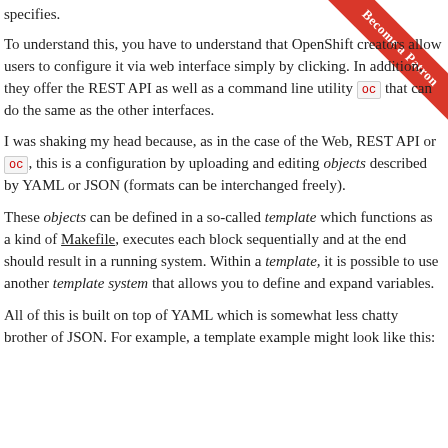specifies.
To understand this, you have to understand that OpenShift creators allow users to configure it via web interface simply by clicking. In addition, they offer the REST API as well as a command line utility oc that can do the same as the other interfaces.
I was shaking my head because, as in the case of the Web, REST API or oc, this is a configuration by uploading and editing objects described by YAML or JSON (formats can be interchanged freely).
These objects can be defined in a so-called template which functions as a kind of Makefile, executes each block sequentially and at the end should result in a running system. Within a template, it is possible to use another template system that allows you to define and expand variables.
All of this is built on top of YAML which is somewhat less chatty brother of JSON. For example, a template example might look like this: